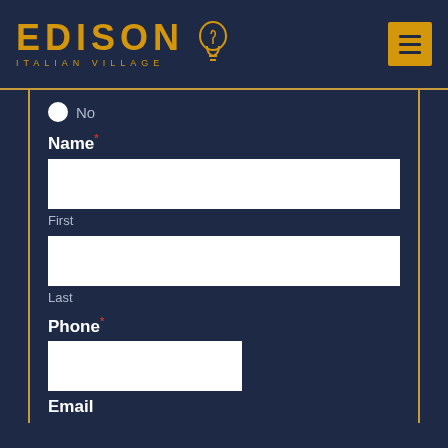[Figure (logo): Edison Italian Village logo with lightbulb icon and menu button]
No
Name *
First
Last
Phone *
Email